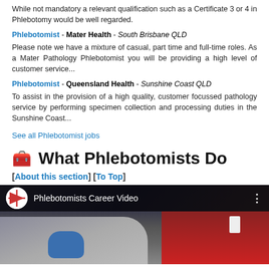While not mandatory a relevant qualification such as a Certificate 3 or 4 in Phlebotomy would be well regarded.
Phlebotomist - Mater Health - South Brisbane QLD
Please note we have a mixture of casual, part time and full-time roles. As a Mater Pathology Phlebotomist you will be providing a high level of customer service...
Phlebotomist - Queensland Health - Sunshine Coast QLD
To assist in the provision of a high quality, customer focussed pathology service by performing specimen collection and processing duties in the Sunshine Coast...
See all Phlebotomist jobs
🧰 What Phlebotomists Do
[About this section] [To Top]
[Figure (screenshot): Embedded YouTube video thumbnail titled 'Phlebotomists Career Video' showing a person in a red uniform and another arm being drawn with blue gloves.]